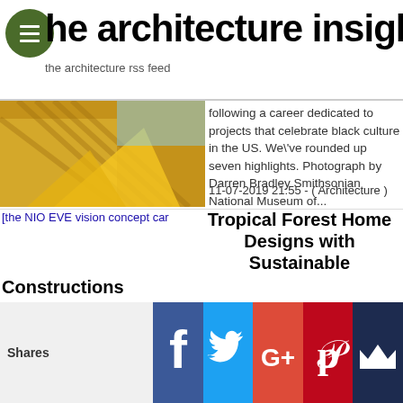the architecture insight
the architecture rss feed
[Figure (photo): Exterior photo of a building with wooden panels and yellow/orange facade]
following a career dedicated to projects that celebrate black culture in the US. We\'ve rounded up seven highlights. Photograph by Darren Bradley Smithsonian National Museum of...
11-07-2019 21:55 - ( Architecture )
[Figure (photo): Thumbnail placeholder: the NIO EVE vision concept car]
Tropical Forest Home Designs with Sustainable Constructions
These tropical exterior planer inspirations were clearly interpret by the nice landscaping of the green and clean forest home exterior. Directly through this page we can see the simple but tidy maintenance of the exterior landscaping with super...
23-01-2017 21:41 - ( Architecture )
Shares